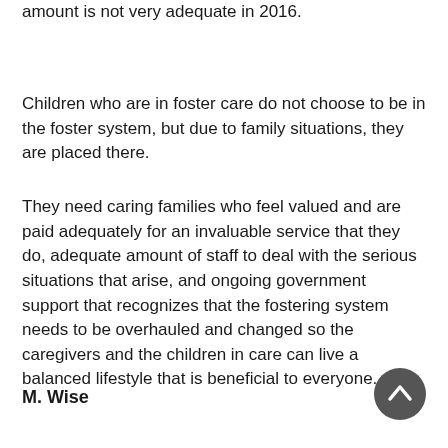amount is not very adequate in 2016.
Children who are in foster care do not choose to be in the foster system, but due to family situations, they are placed there.
They need caring families who feel valued and are paid adequately for an invaluable service that they do, adequate amount of staff to deal with the serious situations that arise, and ongoing government support that recognizes that the fostering system needs to be overhauled and changed so the caregivers and the children in care can live a balanced lifestyle that is beneficial to everyone.
M. Wise